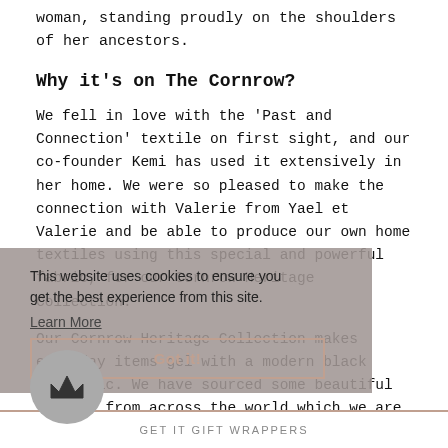woman, standing proudly on the shoulders of her ancestors.
Why it's on The Cornrow?
We fell in love with the 'Past and Connection' textile on first sight, and our co-founder Kemi has used it extensively in her home. We were so pleased to make the connection with Valerie from Yael et Valerie and be able to produce our own home textiles using this special and powerful fabric, for our Cornrow Heritage Collection.
Our Cornrow Heritage Collection makes everyday items gel with a modern black aesthetic. We have sourced some beautiful fabrics from across the world which we are making into wonderful everyday items - cushions, beanbags, throws... there is so much to come from The Cornrow home interiors collection!
[Figure (screenshot): Cookie consent overlay banner with text 'This website uses cookies to ensure you...' and a 'Learn More' link and 'Got it!' button, plus a crown icon circle]
GET IT GIFT WRAPPERS